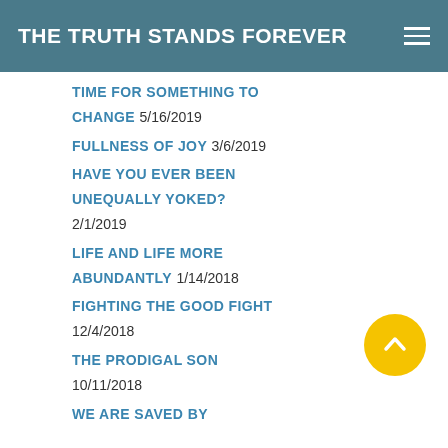THE TRUTH STANDS FOREVER
TIME FOR SOMETHING TO CHANGE 5/16/2019
FULLNESS OF JOY 3/6/2019
HAVE YOU EVER BEEN UNEQUALLY YOKED? 2/1/2019
LIFE AND LIFE MORE ABUNDANTLY 1/14/2018
FIGHTING THE GOOD FIGHT 12/4/2018
THE PRODIGAL SON 10/11/2018
WE ARE SAVED BY